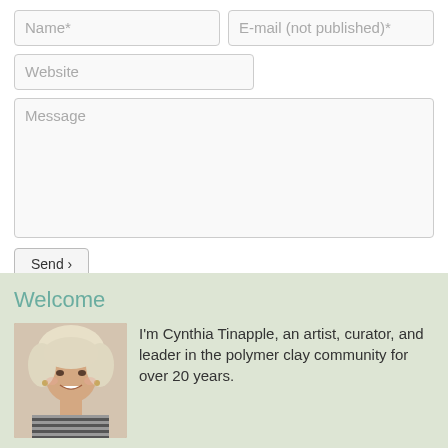Name*
E-mail (not published)*
Website
Message
Send ›
Welcome
[Figure (photo): Portrait photo of a woman with blonde hair, smiling, wearing a striped top and earrings.]
I'm Cynthia Tinapple, an artist, curator, and leader in the polymer clay community for over 20 years.